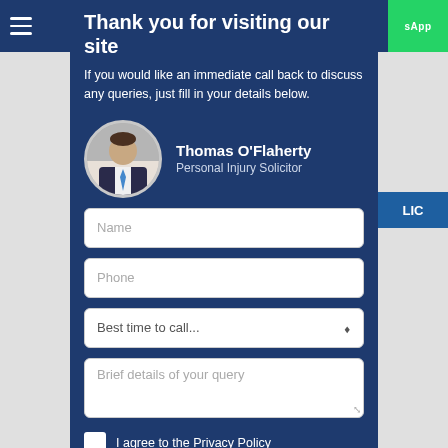Thank you for visiting our site
If you would like an immediate call back to discuss any queries, just fill in your details below.
[Figure (photo): Circular headshot of Thomas O'Flaherty, a man in a suit and tie]
Thomas O'Flaherty
Personal Injury Solicitor
Name
Phone
Best time to call...
Brief details of your query
I agree to the Privacy Policy
(View Privacy Policy)
Send